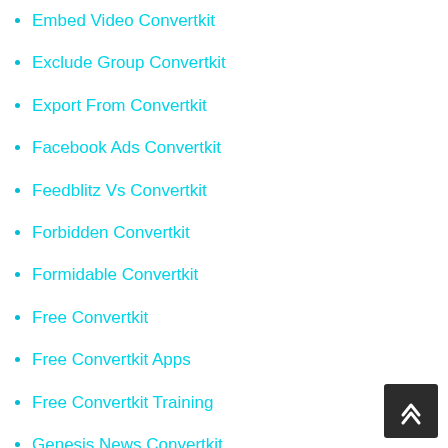Embed Video Convertkit
Exclude Group Convertkit
Export From Convertkit
Facebook Ads Convertkit
Feedblitz Vs Convertkit
Forbidden Convertkit
Formidable Convertkit
Free Convertkit
Free Convertkit Apps
Free Convertkit Training
Genesis News Convertkit